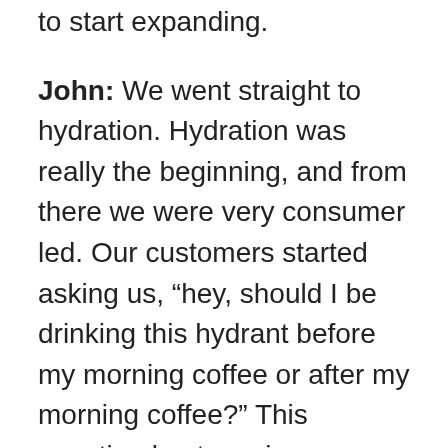to start expanding.
John: We went straight to hydration. Hydration was really the beginning, and from there we were very consumer led. Our customers started asking us, “hey, should I be drinking this hydrant before my morning coffee or after my morning coffee?” This question kept coming. Eventually we said maybe we should make a product that replaces that coffee so we don’t have to feel this question. We made the energy SKU, which hits all of the major points of our product philosophy. It hydrates you but also we looked at the problems that come from the different forms of caffeine that we take and